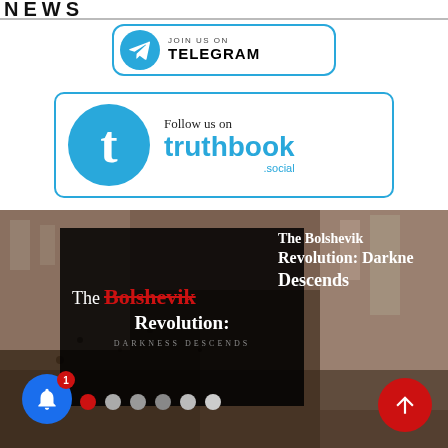[Figure (logo): Partial news banner at top, cropped showing bold uppercase text]
[Figure (logo): Join us on Telegram button with blue circle Telegram logo, bordered rounded rectangle]
[Figure (logo): Follow us on truthbook.social banner with blue circle 't' logo, bordered rounded rectangle]
[Figure (photo): Bolshevik Revolution slideshow image with historical crowd photo background, dark overlay text box reading 'The Bolshevik Revolution: Darkness Descends', with slide navigation dots and notification bell (badge=1) and up-arrow button]